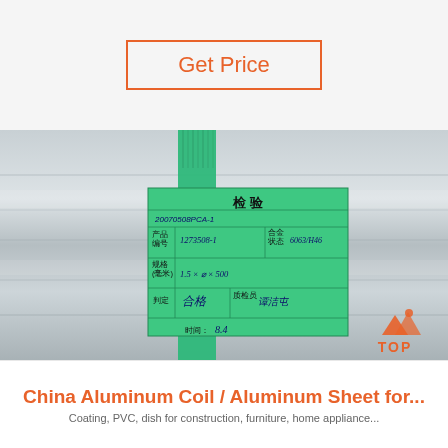Get Price
[Figure (photo): Aluminum coil roll with green plastic strapping and an attached green inspection label. The label is titled '检验' (inspection) and contains handwritten product details including product number 1273508-1, alloy state 6063/6946, specification 1.5x width x 500, judgment 合格 (qualified), inspector signature, and time field.]
China Aluminum Coil / Aluminum Sheet for...
Coating, PVC, dish for construction, furniture, home appliance...